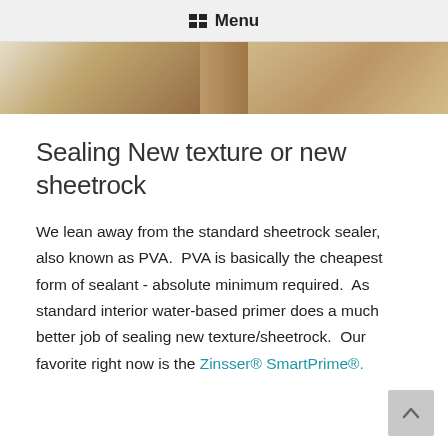Menu
[Figure (photo): Partial view of a construction or renovation scene showing insulation or drywall materials with wooden framing visible.]
Sealing New texture or new sheetrock
We lean away from the standard sheetrock sealer, also known as PVA. PVA is basically the cheapest form of sealant - absolute minimum required. As standard interior water-based primer does a much better job of sealing new texture/sheetrock. Our favorite right now is the Zinsser® SmartPrime®.